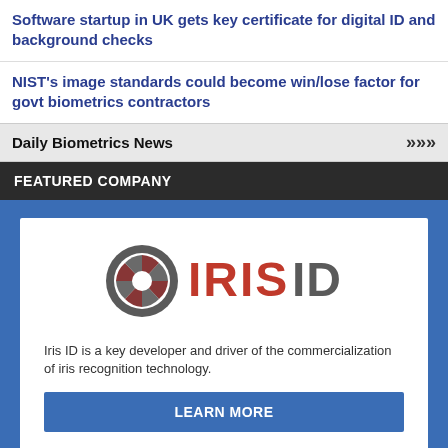Software startup in UK gets key certificate for digital ID and background checks
NIST's image standards could become win/lose factor for govt biometrics contractors
Daily Biometrics News »»»
FEATURED COMPANY
[Figure (logo): Iris ID logo with iris/lens graphic and text IRIS ID in red and gray]
Iris ID is a key developer and driver of the commercialization of iris recognition technology.
LEARN MORE
More Biometrics Companies »»»